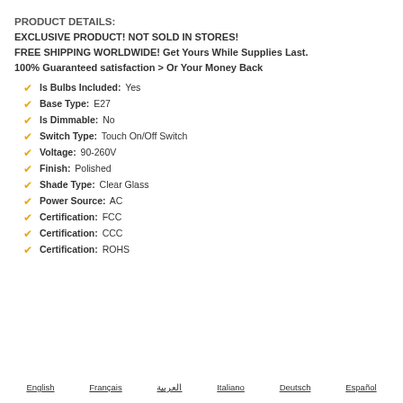PRODUCT DETAILS:
EXCLUSIVE PRODUCT! NOT SOLD IN STORES!
FREE SHIPPING WORLDWIDE! Get Yours While Supplies Last.
100% Guaranteed satisfaction > Or Your Money Back
Is Bulbs Included: Yes
Base Type: E27
Is Dimmable: No
Switch Type: Touch On/Off Switch
Voltage: 90-260V
Finish: Polished
Shade Type: Clear Glass
Power Source: AC
Certification: FCC
Certification: CCC
Certification: ROHS
English   Français   العربية   Italiano   Deutsch   Español